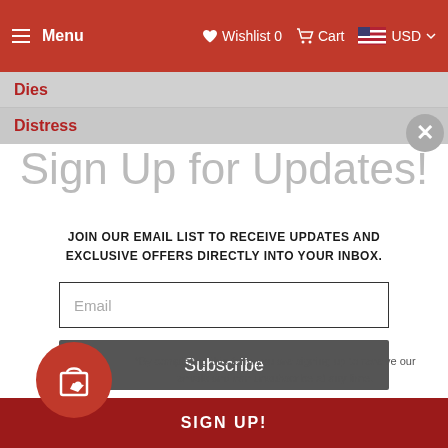[Figure (screenshot): Red navigation bar with hamburger menu icon and Menu label on left, Wishlist 0 with heart icon, Cart with cart icon, and USD with US flag and dropdown arrow on right]
Dies
Distress
Sign Up for Updates!
JOIN OUR EMAIL LIST TO RECEIVE UPDATES AND EXCLUSIVE OFFERS DIRECTLY INTO YOUR INBOX.
Email
Subscribe
*By completing this form you are signing up to receive our emails and can unsubscribe at any time.
SIGN UP!